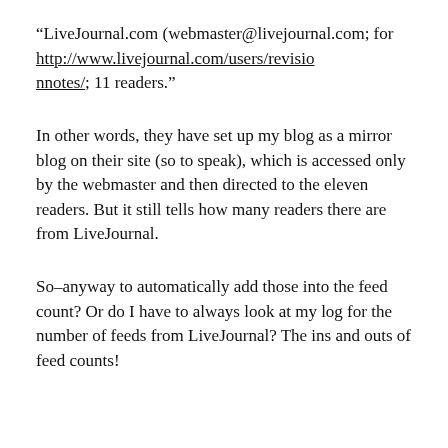“LiveJournal.com (webmaster@livejournal.com; for http://www.livejournal.com/users/revisionnotes/; 11 readers.”
In other words, they have set up my blog as a mirror blog on their site (so to speak), which is accessed only by the webmaster and then directed to the eleven readers. But it still tells how many readers there are from LiveJournal.
So–anyway to automatically add those into the feed count? Or do I have to always look at my log for the number of feeds from LiveJournal? The ins and outs of feed counts!